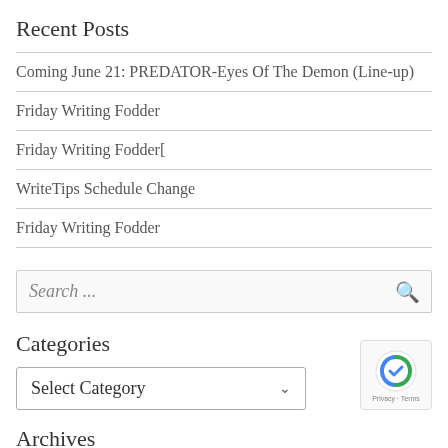Recent Posts
Coming June 21: PREDATOR-Eyes Of The Demon (Line-up)
Friday Writing Fodder
Friday Writing Fodder[
WriteTips Schedule Change
Friday Writing Fodder
[Figure (other): Search input box with magnifying glass icon]
Categories
[Figure (other): Select Category dropdown widget]
Archives
[Figure (other): reCAPTCHA badge with Privacy and Terms links]